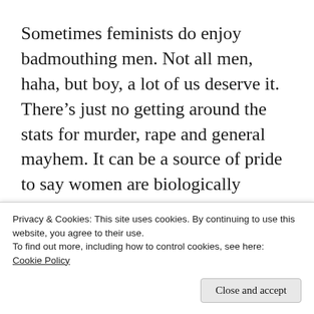Sometimes feminists do enjoy badmouthing men. Not all men, haha, but boy, a lot of us deserve it. There’s just no getting around the stats for murder, rape and general mayhem. It can be a source of pride to say women are biologically superior, that if women ruled the world we’d all be happier, and that testosterone is the source of all evil.
A lot is tongue in cheek. A lot is a way to
Privacy & Cookies: This site uses cookies. By continuing to use this website, you agree to their use.
To find out more, including how to control cookies, see here:
Cookie Policy